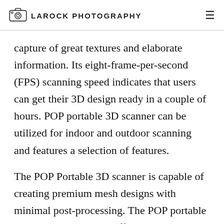LAROCK PHOTOGRAPHY
capture of great textures and elaborate information. Its eight-frame-per-second (FPS) scanning speed indicates that users can get their 3D design ready in a couple of hours. POP portable 3D scanner can be utilized for indoor and outdoor scanning and features a selection of features.
The POP Portable 3D scanner is capable of creating premium mesh designs with minimal post-processing. The POP portable 3d scanner is likewise efficient in making